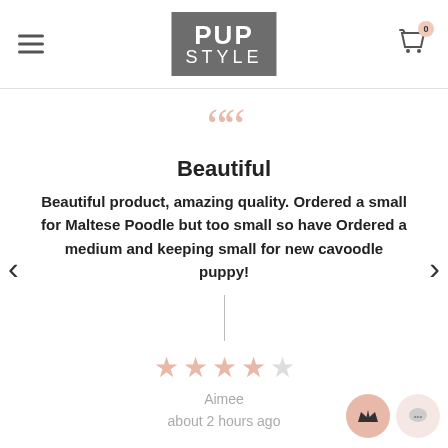PUP STYLE
Beautiful
Beautiful product, amazing quality. Ordered a small for Maltese Poodle but too small so have Ordered a medium and keeping small for new cavoodle puppy!
Aimee
about 2 hours ago